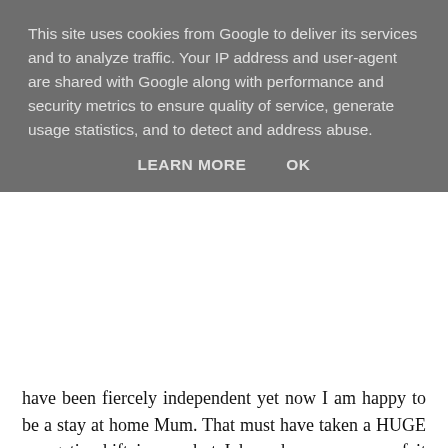This site uses cookies from Google to deliver its services and to analyze traffic. Your IP address and user-agent are shared with Google along with performance and security metrics to ensure quality of service, generate usage statistics, and to detect and address abuse.
LEARN MORE    OK
have been fiercely independent yet now I am happy to be a stay at home Mum. That must have taken a HUGE energetic shift in me, but I have been unaware of it happening as it has been so so gradual. Also, I see it mirrored in other people in my life and in the media, and I know I am part of a cultural shift that is going on globally, where finance is no longer our only priority or focus. Previously I would earn the money and think "how shall I spend it?". Now I think "how shall I spend my time?" and manifest a way to pay for it, which thanks to blogging, doesn't always require money.